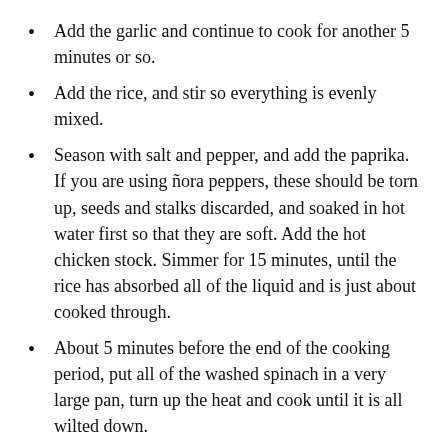Add the garlic and continue to cook for another 5 minutes or so.
Add the rice, and stir so everything is evenly mixed.
Season with salt and pepper, and add the paprika. If you are using ñora peppers, these should be torn up, seeds and stalks discarded, and soaked in hot water first so that they are soft. Add the hot chicken stock. Simmer for 15 minutes, until the rice has absorbed all of the liquid and is just about cooked through.
About 5 minutes before the end of the cooking period, put all of the washed spinach in a very large pan, turn up the heat and cook until it is all wilted down.
When the rice is cooked, add the pork and spinach and push it into the paella, so that the oil soaks in. Cover with a lid and let everything settle for around 5 minutes.